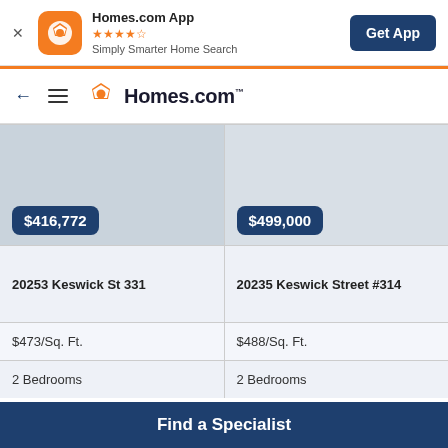[Figure (screenshot): Homes.com app banner with orange icon, star rating, tagline, and Get App button]
[Figure (logo): Homes.com navigation bar with back arrow, hamburger menu, and Homes.com logo]
[Figure (screenshot): Two property listing cards side by side. Left: $416,772, 20253 Keswick St 331, $473/Sq. Ft., 2 Bedrooms. Right: $499,000, 20235 Keswick Street #314, $488/Sq. Ft., 2 Bedrooms.]
Find a Specialist